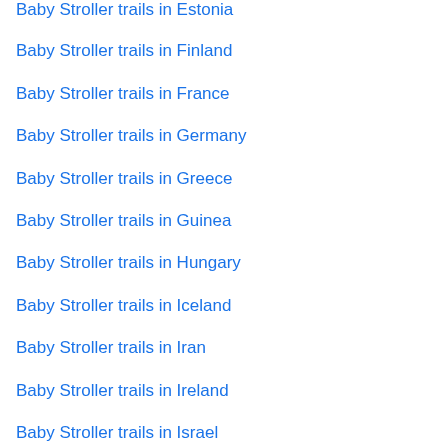Baby Stroller trails in Estonia
Baby Stroller trails in Finland
Baby Stroller trails in France
Baby Stroller trails in Germany
Baby Stroller trails in Greece
Baby Stroller trails in Guinea
Baby Stroller trails in Hungary
Baby Stroller trails in Iceland
Baby Stroller trails in Iran
Baby Stroller trails in Ireland
Baby Stroller trails in Israel
Baby Stroller trails in Italy
Baby Stroller trails in Japan
Baby Stroller trails in Kyrgyzstan